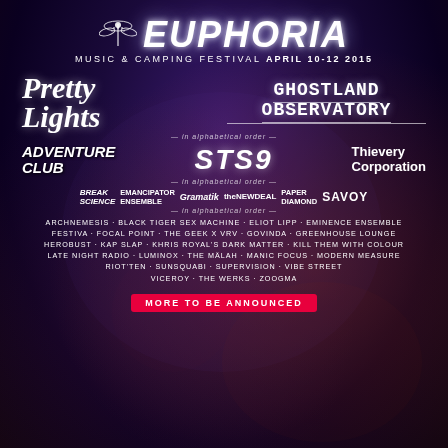[Figure (infographic): Euphoria Music & Camping Festival April 10-12 2015 promotional poster with dark purple/blue cosmic background featuring Pretty Lights, Ghostland Observatory, Adventure Club, STS9, Thievery Corporation and many more artists listed]
EUPHORIA
MUSIC & CAMPING FESTIVAL APRIL 10-12 2015
Pretty Lights
GHOSTLAND OBSERVATORY
— in alphabetical order —
ADVENTURE CLUB  STS9  Thievery Corporation
— in alphabetical order —
BREAK SCIENCE  EMANCIPATOR ENSEMBLE  Gramatik  theNEWDEAL  PAPER DIAMOND  SAVOY
— in alphabetical order —
ARCHNEMESIS · BLACK TIGER SEX MACHINE · ELIOT LIPP · EMINENCE ENSEMBLE · FESTIVA · FOCAL POINT · THE GEEK X VRV · GOVINDA · GREENHOUSE LOUNGE · HEROBUST · KAP SLAP · KHRIS ROYAL'S DARK MATTER · KILL THEM WITH COLOUR · LATE NIGHT RADIO · LUMINOX · THE MALAH · MANIC FOCUS · MODERN MEASURE · RIOT'TEN · SUNSQUABI · SUPERVISION · VIBE STREET · VICEROY · THE WERKS · ZOOGMA
MORE TO BE ANNOUNCED